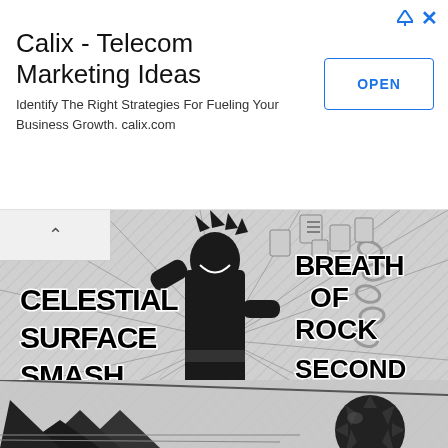[Figure (screenshot): Advertisement banner for Calix - Telecom Marketing Ideas with title, description and OPEN button]
Calix - Telecom Marketing Ideas
Identify The Right Strategies For Fueling Your Business Growth. calix.com
[Figure (illustration): Manga panel from Demon Slayer showing a character performing 'Breath of Rock Second Form: Celestial Surface Smash' attack with text overlaid on action scene. Bottom panel shows a spiked weapon/mace.]